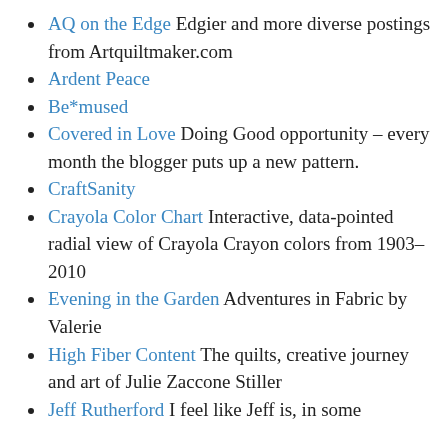AQ on the Edge Edgier and more diverse postings from Artquiltmaker.com
Ardent Peace
Be*mused
Covered in Love Doing Good opportunity – every month the blogger puts up a new pattern.
CraftSanity
Crayola Color Chart Interactive, data-pointed radial view of Crayola Crayon colors from 1903–2010
Evening in the Garden Adventures in Fabric by Valerie
High Fiber Content The quilts, creative journey and art of Julie Zaccone Stiller
Jeff Rutherford I feel like Jeff is, in some